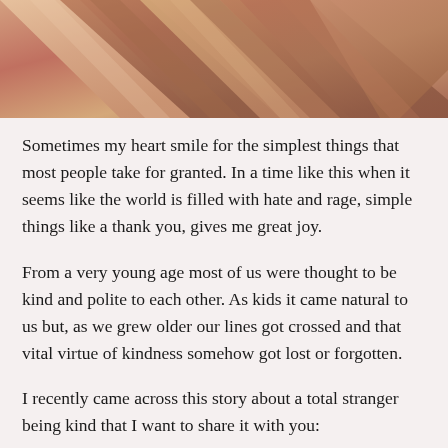[Figure (photo): Close-up photograph of intertwined hands/arms of people with different skin tones, suggesting unity and connection.]
Sometimes my heart smile for the simplest things that most people take for granted. In a time like this when it seems like the world is filled with hate and rage, simple things like a thank you, gives me great joy.
From a very young age most of us were thought to be kind and polite to each other. As kids it came natural to us but, as we grew older our lines got crossed and that vital virtue of kindness somehow got lost or forgotten.
I recently came across this story about a total stranger being kind that I want to share it with you:
Seven Miles For Me